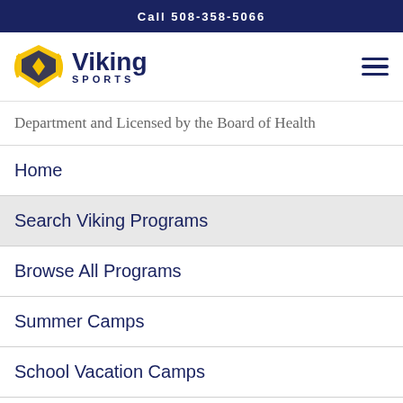Call 508-358-5066
[Figure (logo): Viking Sports logo with golden shield and dark blue text]
Department and Licensed by the Board of Health
Home
Search Viking Programs
Browse All Programs
Summer Camps
School Vacation Camps
One-Day School Holiday Camps